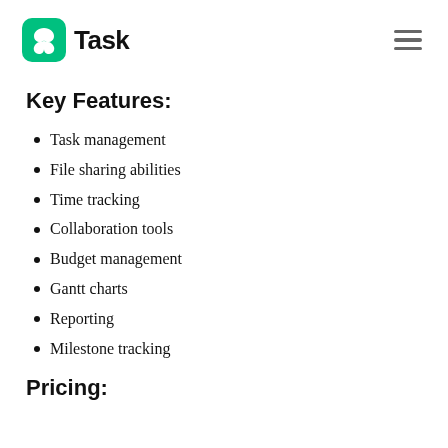nTask
Key Features:
Task management
File sharing abilities
Time tracking
Collaboration tools
Budget management
Gantt charts
Reporting
Milestone tracking
Pricing: